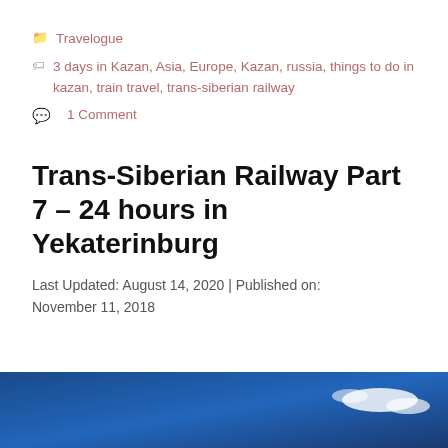Travelogue
3 days in Kazan, Asia, Europe, Kazan, russia, things to do in kazan, train travel, trans-siberian railway
1 Comment
Trans-Siberian Railway Part 7 – 24 hours in Yekaterinburg
Last Updated: August 14, 2020 | Published on: November 11, 2018
[Figure (photo): Blue sky with white clouds — header photo for Trans-Siberian Railway article]